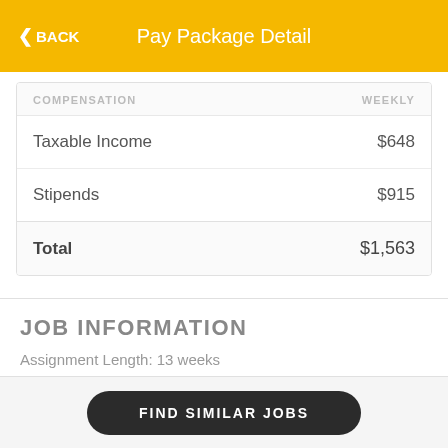Pay Package Detail
| COMPENSATION | WEEKLY |
| --- | --- |
| Taxable Income | $648 |
| Stipends | $915 |
| Total | $1,563 |
JOB INFORMATION
Assignment Length: 13 weeks
FIND SIMILAR JOBS